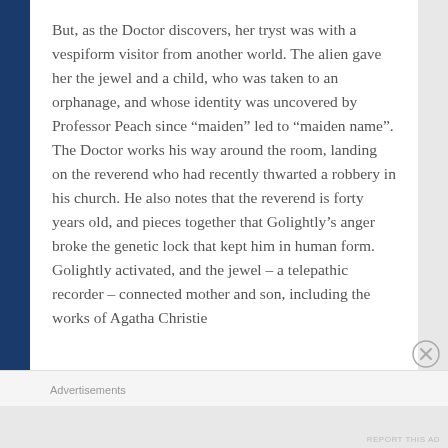But, as the Doctor discovers, her tryst was with a vespiform visitor from another world. The alien gave her the jewel and a child, who was taken to an orphanage, and whose identity was uncovered by Professor Peach since “maiden” led to “maiden name”. The Doctor works his way around the room, landing on the reverend who had recently thwarted a robbery in his church. He also notes that the reverend is forty years old, and pieces together that Golightly’s anger broke the genetic lock that kept him in human form. Golightly activated, and the jewel – a telepathic recorder – connected mother and son, including the works of Agatha Christie
Advertisements